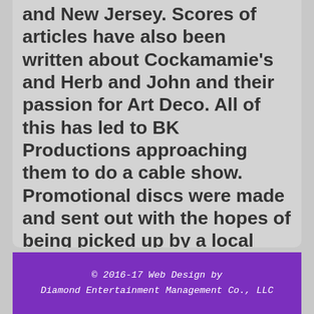and New Jersey. Scores of articles have also been written about Cockamamie's and Herb and John and their passion for Art Deco.   All of this has led to BK Productions approaching them to do a cable show.  Promotional discs were made and sent out with the hopes of being picked up by a local network.
Always evolving, Herb and John are excited about using the internet to expand their audience for telling the story of Art Deco and finding and sharing with others their passion for the style and for décor.
© 2016-17 Web Design by Diamond Entertainment Management Co., LLC